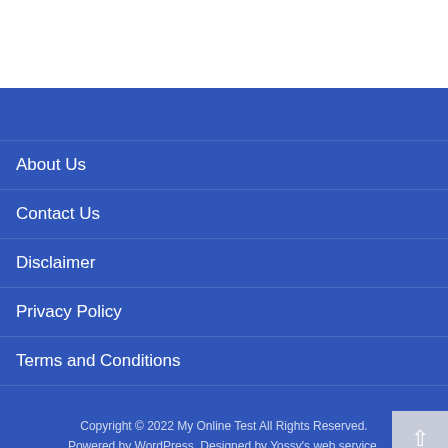About Us
Contact Us
Disclaimer
Privacy Policy
Terms and Conditions
Copyright © 2022 My Online Test All Rights Reserved.
Powered by WordPress. Designed by Yossy's web service.